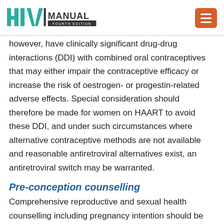HIV Manual Fourth Edition
however, have clinically significant drug-drug interactions (DDI) with combined oral contraceptives that may either impair the contraceptive efficacy or increase the risk of oestrogen- or progestin-related adverse effects. Special consideration should therefore be made for women on HAART to avoid these DDI, and under such circumstances where alternative contraceptive methods are not available and reasonable antiretroviral alternatives exist, an antiretroviral switch may be warranted.
Pre-conception counselling
Comprehensive reproductive and sexual health counselling including pregnancy intention should be